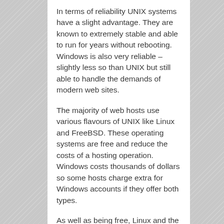In terms of reliability UNIX systems have a slight advantage. They are known to extremely stable and able to run for years without rebooting. Windows is also very reliable – slightly less so than UNIX but still able to handle the demands of modern web sites.
The majority of web hosts use various flavours of UNIX like Linux and FreeBSD. These operating systems are free and reduce the costs of a hosting operation. Windows costs thousands of dollars so some hosts charge extra for Windows accounts if they offer both types.
As well as being free, Linux and the other UNIX varieties are open-source software. Anyone can alter the source code and make improvements, updates, and additions. There is a large pool of